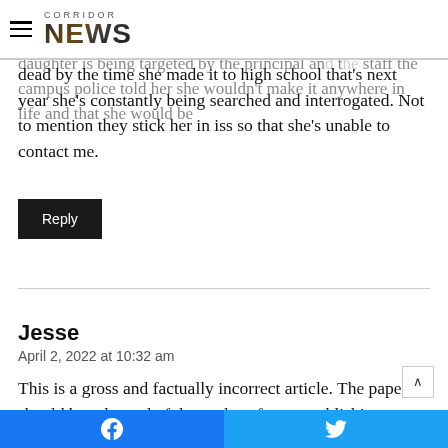Corridor News
I don't know what is wrong with the school system story is a like there's no interest in the children learning. I'm dealing my daughter is being targeted by the principal and the staff the campus police told her she wouldn't make it anywhere in life and that she would be dead by the time she made it to high school that's next year she's constantly being searched and interrogated. Not to mention they stick her in iss so that she's unable to contact me.
Reply
Jesse
April 2, 2022 at 10:32 am
This is a gross and factually incorrect article. The paper should be ashamed of themselves for not publishing actu facts. So quick to play the race card, you look like fools.
Facebook | Twitter